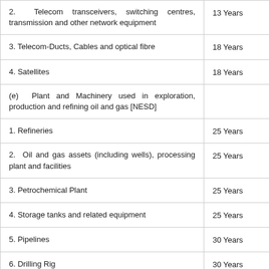| Description | Useful Life |
| --- | --- |
| 2. Telecom transceivers, switching centres, transmission and other network equipment | 13 Years |
| 3. Telecom-Ducts, Cables and optical fibre | 18 Years |
| 4. Satellites | 18 Years |
| (e) Plant and Machinery used in exploration, production and refining oil and gas [NESD] |  |
| 1. Refineries | 25 Years |
| 2. Oil and gas assets (including wells), processing plant and facilities | 25 Years |
| 3. Petrochemical Plant | 25 Years |
| 4. Storage tanks and related equipment | 25 Years |
| 5. Pipelines | 30 Years |
| 6. Drilling Rig | 30 Years |